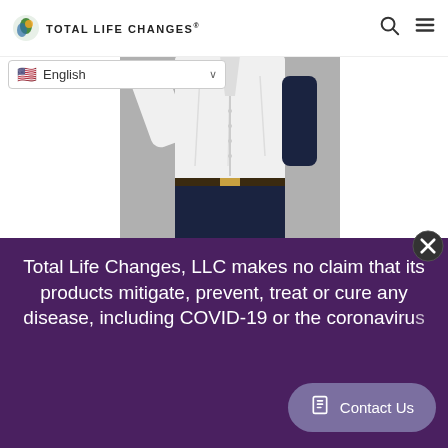TOTAL LIFE CHANGES
[Figure (screenshot): Language selector dropdown showing English with US flag]
[Figure (photo): Person in white shirt and dark pants, torso and lower body visible against grey background]
Acknowledging other's results while using the products and the changes in their lives is exciting and
Total Life Changes, LLC makes no claim that its products mitigate, prevent, treat or cure any disease, including COVID-19 or the coronaviru…